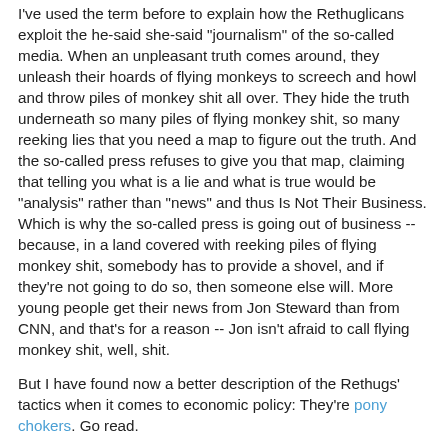I've used the term before to explain how the Rethuglicans exploit the he-said she-said "journalism" of the so-called media. When an unpleasant truth comes around, they unleash their hoards of flying monkeys to screech and howl and throw piles of monkey shit all over. They hide the truth underneath so many piles of flying monkey shit, so many reeking lies that you need a map to figure out the truth. And the so-called press refuses to give you that map, claiming that telling you what is a lie and what is true would be "analysis" rather than "news" and thus Is Not Their Business. Which is why the so-called press is going out of business -- because, in a land covered with reeking piles of flying monkey shit, somebody has to provide a shovel, and if they're not going to do so, then someone else will. More young people get their news from Jon Steward than from CNN, and that's for a reason -- Jon isn't afraid to call flying monkey shit, well, shit.
But I have found now a better description of the Rethugs' tactics when it comes to economic policy: They're pony chokers. Go read.
-- Badtux the Snarky Penguin